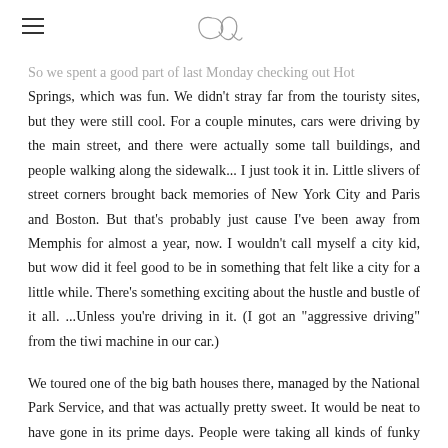≡  [logo script OQ]
So we spent a good part of last Monday checking out Hot Springs, which was fun. We didn't stray far from the touristy sites, but they were still cool. For a couple minutes, cars were driving by the main street, and there were actually some tall buildings, and people walking along the sidewalk... I just took it in. Little slivers of street corners brought back memories of New York City and Paris and Boston. But that's probably just cause I've been away from Memphis for almost a year, now. I wouldn't call myself a city kid, but wow did it feel good to be in something that felt like a city for a little while. There's something exciting about the hustle and bustle of it all. ...Unless you're driving in it. (I got an "aggressive driving" from the tiwi machine in our car.)
We toured one of the big bath houses there, managed by the National Park Service, and that was actually pretty sweet. It would be neat to have gone in its prime days. People were taking all kinds of funky varieties of baths and treatments.